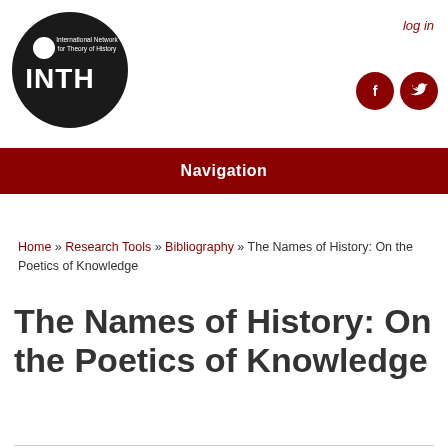[Figure (logo): INTH International Network for Theory of History circular black logo with white text and dot]
log in
[Figure (logo): Facebook and Twitter social media icons as dark red circles]
Navigation
Home » Research Tools » Bibliography » The Names of History: On the Poetics of Knowledge
The Names of History: On the Poetics of Knowledge